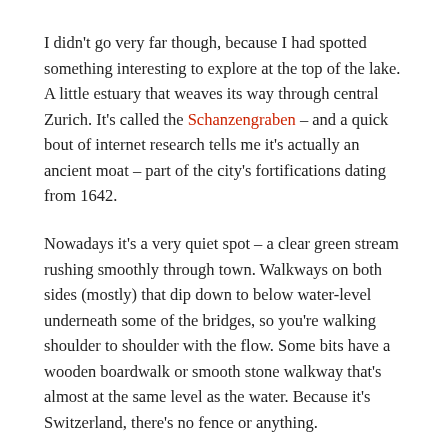I didn't go very far though, because I had spotted something interesting to explore at the top of the lake. A little estuary that weaves its way through central Zurich. It's called the Schanzengraben – and a quick bout of internet research tells me it's actually an ancient moat – part of the city's fortifications dating from 1642.
Nowadays it's a very quiet spot – a clear green stream rushing smoothly through town. Walkways on both sides (mostly) that dip down to below water-level underneath some of the bridges, so you're walking shoulder to shoulder with the flow. Some bits have a wooden boardwalk or smooth stone walkway that's almost at the same level as the water. Because it's Switzerland, there's no fence or anything.
I didn't see many other people – a few dog walkers and a couple of lost-looking Japanese toursists. All the shops in Zurich are closed on Sundays, which means Bahnhofstrasse goes from one of the most expensive retail strips in the world to a ghost town. As for foliage-clad 17th century moats nearby… they're even emptier.